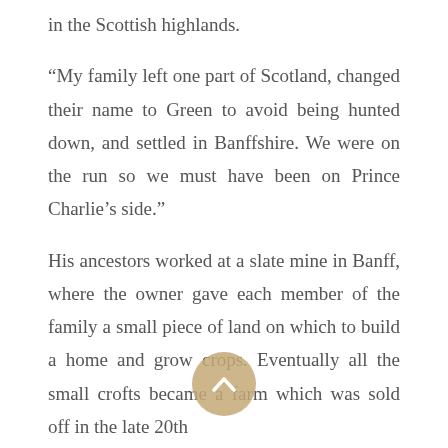in the Scottish highlands.
“My family left one part of Scotland, changed their name to Green to avoid being hunted down, and settled in Banffshire. We were on the run so we must have been on Prince Charlie’s side.”
His ancestors worked at a slate mine in Banff, where the owner gave each member of the family a small piece of land on which to build a home and grow crops. Eventually all the small crofts became a farm which was sold off in the late 20th
[Figure (other): A circular scroll-up / back-to-top button with an upward-pointing chevron icon, tan/gold colored background.]